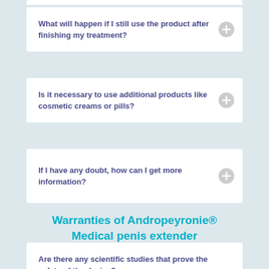What will happen if I still use the product after finishing my treatment?
Is it necessary to use additional products like cosmetic creams or pills?
If I have any doubt, how can I get more information?
Warranties of Andropeyronie® Medical penis extender
Are there any scientific studies that prove the safety of the device?